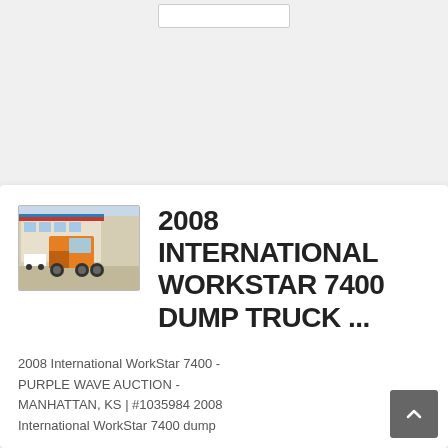[Figure (screenshot): Search box UI element at top of page]
[Figure (photo): Orange dump truck / semi truck in a parking lot with blue and red signage in background]
2008 INTERNATIONAL WORKSTAR 7400 DUMP TRUCK ...
2008 International WorkStar 7400 - PURPLE WAVE AUCTION - MANHATTAN, KS | #1035984 2008 International WorkStar 7400 dump